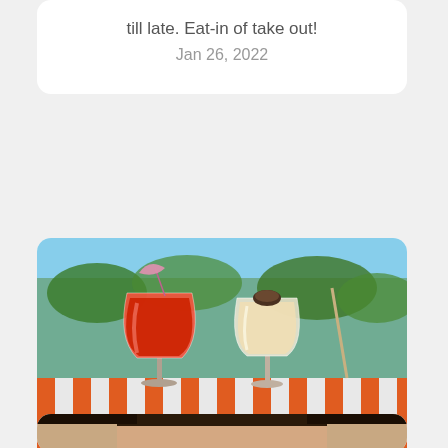till late. Eat-in of take out!
Jan 26, 2022
[Figure (photo): Two frozen cocktails on an orange and white striped outdoor table with palm trees in background. One red frozen drink in a large wine glass with a pink umbrella, one creamy white frozen drink in a regular wine glass.]
WE'RE BACK BABY ✨ We're open from 11AM till late, 7 days! Come grab some hot chicken, frozen cocktails...
Jan 10, 2022
[Figure (photo): Partial view of a person's face, cropped at top of page bottom card.]